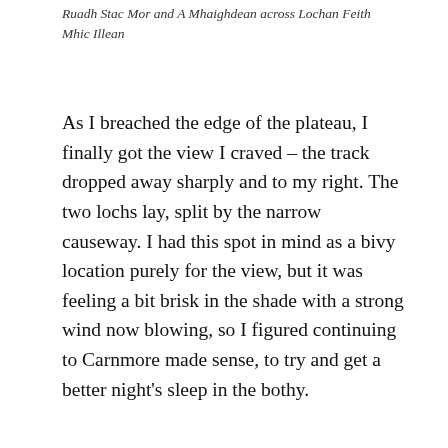Ruadh Stac Mor and A Mhaighdean across Lochan Feith Mhic Illean
As I breached the edge of the plateau, I finally got the view I craved – the track dropped away sharply and to my right. The two lochs lay, split by the narrow causeway. I had this spot in mind as a bivy location purely for the view, but it was feeling a bit brisk in the shade with a strong wind now blowing, so I figured continuing to Carnmore made sense, to try and get a better night's sleep in the bothy.